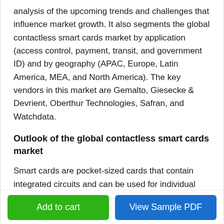analysis of the upcoming trends and challenges that influence market growth. It also segments the global contactless smart cards market by application (access control, payment, transit, and government ID) and by geography (APAC, Europe, Latin America, MEA, and North America). The key vendors in this market are Gemalto, Giesecke & Devrient, Oberthur Technologies, Safran, and Watchdata.
Outlook of the global contactless smart cards market
Smart cards are pocket-sized cards that contain integrated circuits and can be used for individual identification and authentication by organizations across various sectors. The prospects for growth in